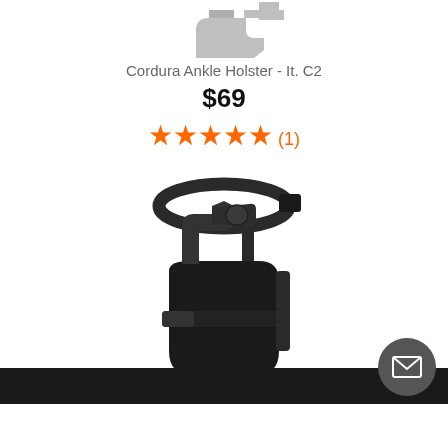[Figure (photo): Partial top view of a gun/pistol silhouette in gray, cropped at top]
Cordura Ankle Holster - It. C2
$69
★★★★★ (1)
[Figure (photo): Black cordura ankle holster with a revolver/pistol inserted, showing ankle strap loop at top and velcro closures]
Email contact button (envelope icon) in bottom right corner over dark footer bar